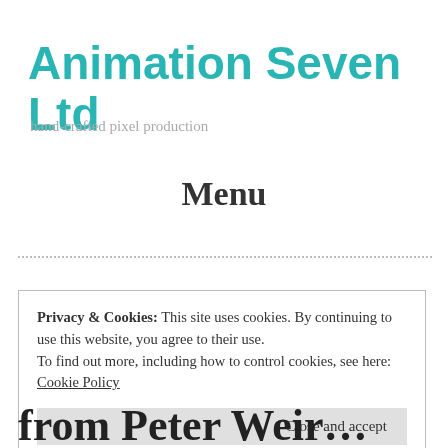Animation Seven Ltd
hand-crafted pixel production
Menu
Privacy & Cookies: This site uses cookies. By continuing to use this website, you agree to their use.
To find out more, including how to control cookies, see here: Cookie Policy
Close and accept
from Peter Weir...